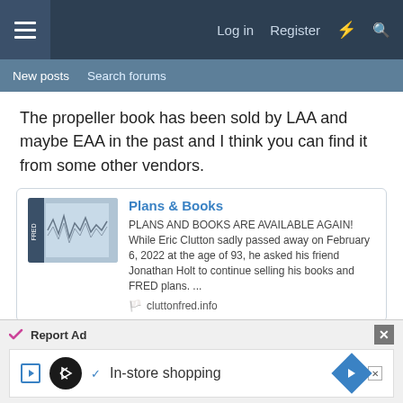Log in  Register
New posts  Search forums
The propeller book has been sold by LAA and maybe EAA in the past and I think you can find it from some other vendors.
[Figure (screenshot): Link card for Plans & Books on cluttonfred.info showing book cover image and text: PLANS AND BOOKS ARE AVAILABLE AGAIN! While Eric Clutton sadly passed away on February 6, 2022 at the age of 93, he asked his friend Jonathan Holt to continue selling his books and FRED plans. ...]
Riggerrob
[Figure (screenshot): Report Ad bar with ad content: In-store shopping, with play button, circle logo, checkmark, and navigation arrow diamond icon]